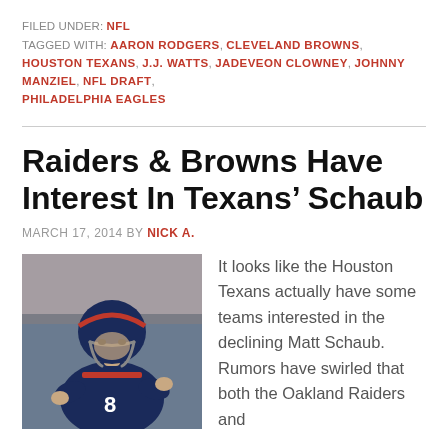FILED UNDER: NFL
TAGGED WITH: AARON RODGERS, CLEVELAND BROWNS, HOUSTON TEXANS, J.J. WATTS, JADEVEON CLOWNEY, JOHNNY MANZIEL, NFL DRAFT, PHILADELPHIA EAGLES
Raiders & Browns Have Interest In Texans' Schaub
MARCH 17, 2014 BY NICK A.
[Figure (photo): Matt Schaub wearing Houston Texans jersey number 8, in game action]
It looks like the Houston Texans actually have some teams interested in the declining Matt Schaub. Rumors have swirled that both the Oakland Raiders and